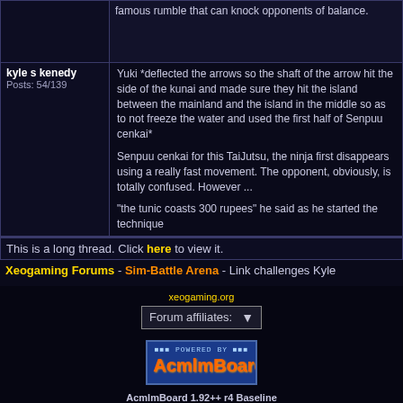| user | post-content-top |
| --- | --- |
|  | famous rumble that can knock opponents of balance. |
| kyle s kenedy
Posts: 54/139 | Yuki *deflected the arrows so the shaft of the arrow hit the side of the kunai and made sure they hit the island between the mainland and the island in the middle so as to not freeze the water and used the first half of Senpuu cenkai*

Senpuu cenkai for this TaiJutsu, the ninja first disappears using a really fast movement. The opponent, obviously, is totally confused. However ...

"the tunic coasts 300 rupees" he said as he started the technique |
This is a long thread. Click here to view it.
Xeogaming Forums - Sim-Battle Arena - Link challenges Kyle
xeogaming.org
Forum affiliates:
[Figure (logo): AcmlmBoard powered-by logo with blue background and orange Acmlm brand text]
AcmlmBoard 1.92++ r4 Baseline
?2000-2013 Acmlm, Emuz, Blades, Xkeeper, DarkSlaya*, Lord Alexandor*
*Unofficial Updates
Page rendered in 0.149 seconds.
0.044